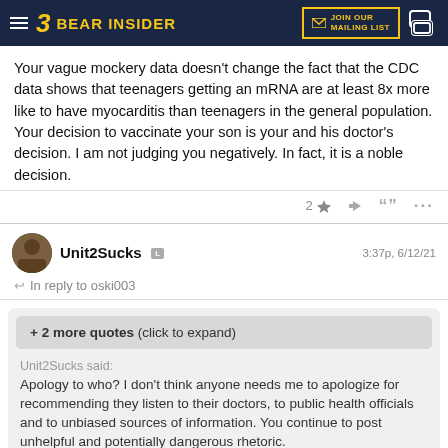Bear Insider — Join Our Mailing List
Your vague mockery data doesn't change the fact that the CDC data shows that teenagers getting an mRNA are at least 8x more like to have myocarditis than teenagers in the general population. Your decision to vaccinate your son is your and his doctor's decision. I am not judging you negatively. In fact, it is a noble decision.
Unit2Sucks  3:37p, 6/12/21
↩ In reply to oski003
+ 2 more quotes (click to expand)
Unit2Sucks said:
Apology to who? I don't think anyone needs me to apologize for recommending they listen to their doctors, to public health officials and to unbiased sources of information. You continue to post unhelpful and potentially dangerous rhetoric.

No one will be harmed by following my "advice". People may